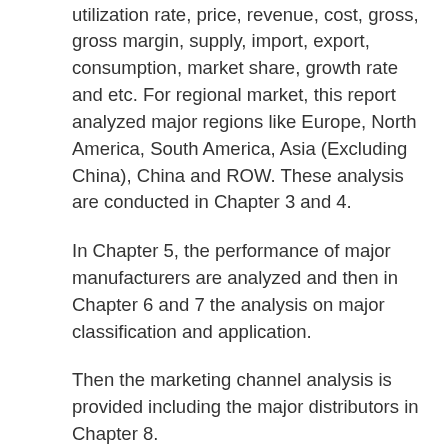chapters, this report analyzed major market data like capacity, production, capacity utilization rate, price, revenue, cost, gross, gross margin, supply, import, export, consumption, market share, growth rate and etc. For regional market, this report analyzed major regions like Europe, North America, South America, Asia (Excluding China), China and ROW. These analysis are conducted in Chapter 3 and 4.
In Chapter 5, the performance of major manufacturers are analyzed and then in Chapter 6 and 7 the analysis on major classification and application.
Then the marketing channel analysis is provided including the major distributors in Chapter 8.
Then this report analyzed the market forecast from 2017 to 2022 for global and regional market in Chapter 9 and the new project investment feasibility analysis in Chapter 10.
At last, this report provided the conclusions of this research in Chapter 11.
This report is a valuable source of guidance for manufacturers, suppliers, distributors, customers, investors